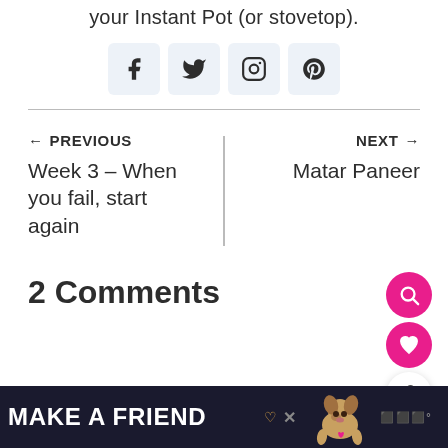your Instant Pot (or stovetop).
[Figure (other): Social media icons: Facebook, Twitter, Instagram, Pinterest]
← PREVIOUS
Week 3 – When you fail, start again
NEXT →
Matar Paneer
2 Comments
[Figure (other): Advertisement banner: MAKE A FRIEND with dog image and heart icons]